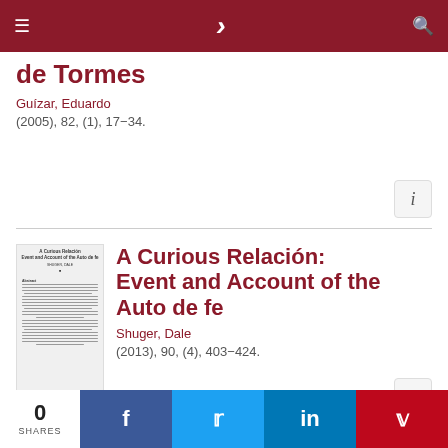≡  )  🔍
de Tormes
Guízar, Eduardo
(2005), 82, (1), 17−34.
A Curious Relación: Event and Account of the Auto de fe
Shuger, Dale
(2013), 90, (4), 403−424.
0 SHARES  f  t  in  P